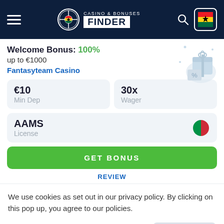CASINO & BONUSES FINDER
Welcome Bonus: 100% up to €1000
Fantasyteam Casino
| €10 | Min Dep |
| 30x | Wager |
| AAMS | License |
GET BONUS
REVIEW
We use cookies as set out in our privacy policy. By clicking on this pop up, you agree to our policies.
Read the privacy policy
It's OK For Me